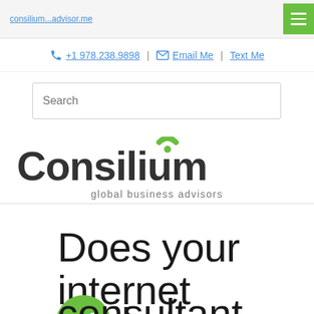consilium...advisor.me (truncated nav link)
+1 978.238.9898 | Email Me | Text Me
Search
[Figure (logo): Consilium global business advisors logo with green arc accent above the letter i]
Does your internet marketing consultant